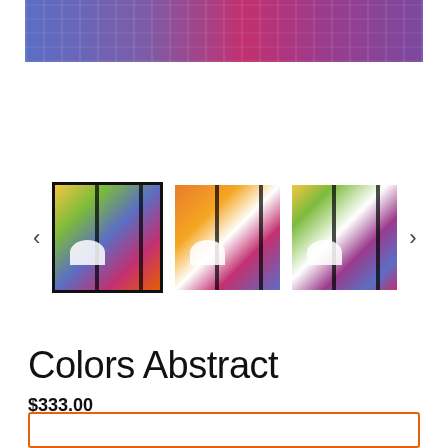[Figure (photo): Top portion of a product image showing colorful abstract tie-dye fabric in blue, pink, and purple tones]
[Figure (photo): Thumbnail carousel with three colorful abstract artwork images. First thumbnail is selected (black border). Navigation arrows on left and right. Images show abstract colorful artwork with bold black vertical lines and a white semicircle element.]
Colors Abstract
$333.00
Tax included. Shipping calculated at checkout.